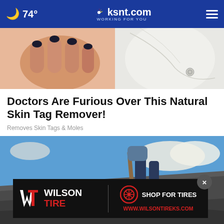74° ksnt.com WORKING FOR YOU
[Figure (photo): Close-up of a person's hand with dark nail polish resting on a white fabric surface, associated with skin tag remover article]
Doctors Are Furious Over This Natural Skin Tag Remover!
Removes Skin Tags & Moles
[Figure (photo): Person climbing or walking on a rocky slope with a tool/stick, blue sky with clouds in background]
[Figure (infographic): Wilson Tire advertisement banner: Wilson Tire logo on left, Shop For Tires with tire icon on right, www.wilsontireks.com URL in red]